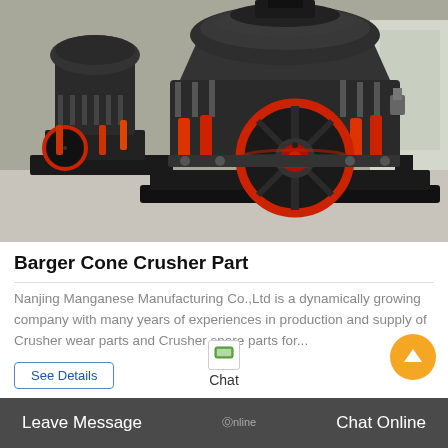[Figure (photo): Industrial cone crusher machines in a factory/warehouse setting. The crushers are large, black metal machines with red and orange hydraulic cylinders and a prominent red-rimmed flywheel pulley visible in the foreground. Multiple units visible in the background on a concrete floor.]
Barger Cone Crusher Part
Nanjing Manganese Manufacturing Co.,Ltd is a dynamically growing company with many years of experiences in production and supply of Crusher wear parts and Crusher spare parts for...
See Details
Chat
Leave Message   Online   Chat Online